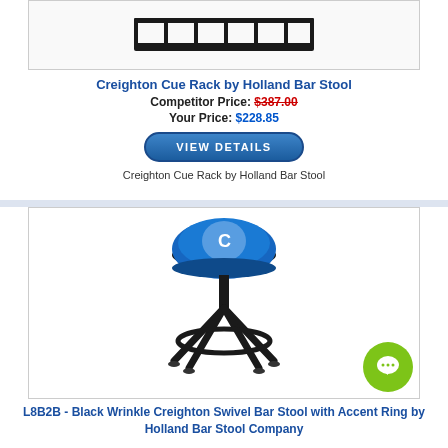[Figure (photo): Creighton cue rack product image - a dark horizontal rack with multiple cue holders]
Creighton Cue Rack by Holland Bar Stool
Competitor Price: $387.00
Your Price: $228.85
VIEW DETAILS
Creighton Cue Rack by Holland Bar Stool
[Figure (photo): L8B2B Black Wrinkle Creighton Swivel Bar Stool with Accent Ring - black metal stool with blue Creighton logo seat cushion]
L8B2B - Black Wrinkle Creighton Swivel Bar Stool with Accent Ring by Holland Bar Stool Company